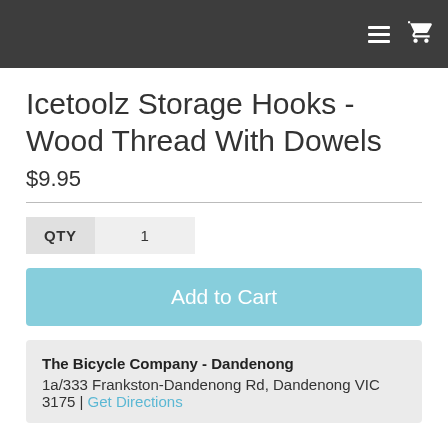Icetoolz Storage Hooks - Wood Thread With Dowels
$9.95
QTY  1
Add to Cart
The Bicycle Company - Dandenong
1a/333 Frankston-Dandenong Rd, Dandenong VIC 3175 | Get Directions